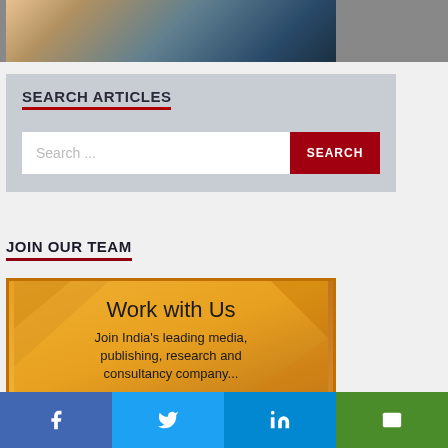[Figure (photo): Partial photo of people, cropped at top of page]
SEARCH ARTICLES
[Figure (other): Search bar with text input field and red SEARCH button]
JOIN OUR TEAM
[Figure (infographic): Work with Us banner on orange/gold background. Text: Work with Us. Join India's leading media, publishing, research and consultancy company.]
[Figure (other): Social media share bar with Facebook, Twitter, LinkedIn, and email icons]